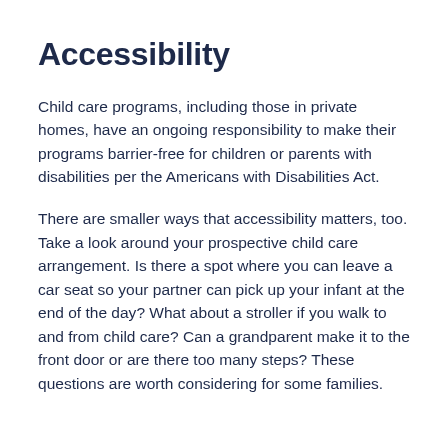Accessibility
Child care programs, including those in private homes, have an ongoing responsibility to make their programs barrier-free for children or parents with disabilities per the Americans with Disabilities Act.
There are smaller ways that accessibility matters, too. Take a look around your prospective child care arrangement. Is there a spot where you can leave a car seat so your partner can pick up your infant at the end of the day? What about a stroller if you walk to and from child care? Can a grandparent make it to the front door or are there too many steps? These questions are worth considering for some families.